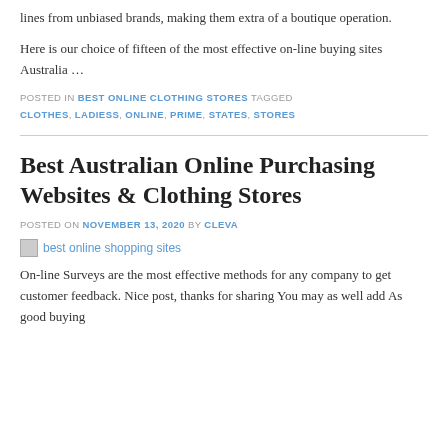lines from unbiased brands, making them extra of a boutique operation.
Here is our choice of fifteen of the most effective on-line buying sites Australia …
POSTED IN BEST ONLINE CLOTHING STORES TAGGED CLOTHES, LADIESS, ONLINE, PRIME, STATES, STORES
Best Australian Online Purchasing Websites & Clothing Stores
POSTED ON NOVEMBER 13, 2020 BY CLEVA
[Figure (photo): best online shopping sites - broken image placeholder]
On-line Surveys are the most effective methods for any company to get customer feedback. Nice post, thanks for sharing You may as well add As good buying